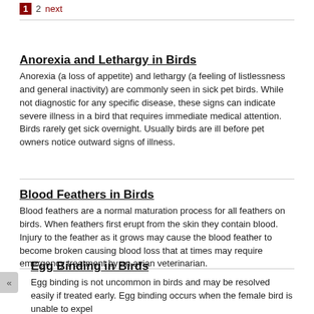1  2  next
Anorexia and Lethargy in Birds
Anorexia (a loss of appetite) and lethargy (a feeling of listlessness and general inactivity) are commonly seen in sick pet birds. While not diagnostic for any specific disease, these signs can indicate severe illness in a bird that requires immediate medical attention. Birds rarely get sick overnight. Usually birds are ill before pet owners notice outward signs of illness.
Blood Feathers in Birds
Blood feathers are a normal maturation process for all feathers on birds. When feathers first erupt from the skin they contain blood. Injury to the feather as it grows may cause the blood feather to become broken causing blood loss that at times may require emergency treatment by an avian veterinarian.
Egg Binding in Birds
Egg binding is not uncommon in birds and may be resolved easily if treated early. Egg binding occurs when the female bird is unable to expel